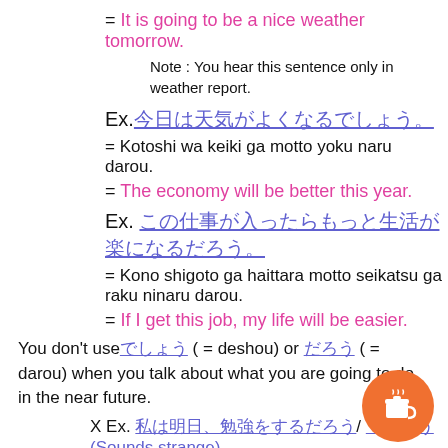= It is going to be a nice weather tomorrow.
Note : You hear this sentence only in weather report.
Ex. [Japanese text]
= Kotoshi wa keiki ga motto yoku naru  darou.
= The economy will be better this year.
Ex. [Japanese text]
= Kono shigoto ga haittara motto seikatsu ga raku ninaru darou.
= If I get this job, my life will be easier.
You don't use[Japanese] ( = deshou) or [Japanese] ( = darou) when you talk about what you are going to do in the near future.
X Ex. [Japanese]/ [Japanese](Sounds strange)
= Watashi wa ashita, benkou wo surudaro deshou.